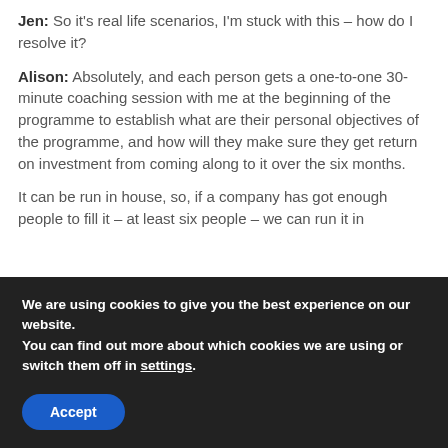Jen: So it's real life scenarios, I'm stuck with this – how do I resolve it?
Alison: Absolutely, and each person gets a one-to-one 30-minute coaching session with me at the beginning of the programme to establish what are their personal objectives of the programme, and how will they make sure they get return on investment from coming along to it over the six months.
It can be run in house, so, if a company has got enough people to fill it – at least six people – we can run it in
We are using cookies to give you the best experience on our website.
You can find out more about which cookies we are using or switch them off in settings.
Accept